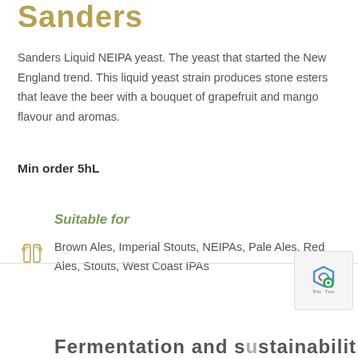Sanders
Sanders Liquid NEIPA yeast. The yeast that started the New England trend. This liquid yeast strain produces stone esters that leave the beer with a bouquet of grapefruit and mango flavour and aromas.
Min order 5hL
Suitable for
Brown Ales, Imperial Stouts, NEIPAs, Pale Ales, Red Ales, Stouts, West Coast IPAs
Fermentation and sustainability